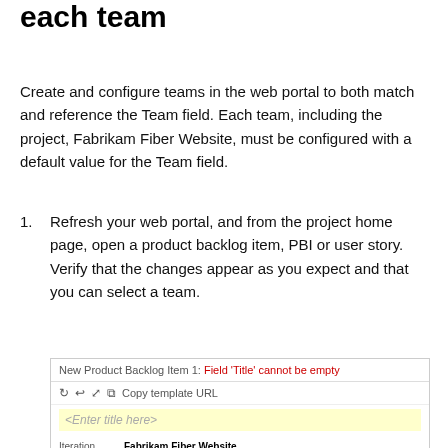each team
Create and configure teams in the web portal to both match and reference the Team field. Each team, including the project, Fabrikam Fiber Website, must be configured with a default value for the Team field.
Refresh your web portal, and from the project home page, open a product backlog item, PBI or user story. Verify that the changes appear as you expect and that you can select a team.
[Figure (screenshot): Screenshot of a New Product Backlog Item form showing a field 'Title' cannot be empty error, a toolbar with copy template URL, a yellow title input field, Iteration and Area set to Fabrikam Fiber Website, a STATUS section with a Team dropdown (Unassigned selected with orange border) showing Team A and Team B options, and a DETAILS section with Effort, Business Value, and Backlog Priority fields.]